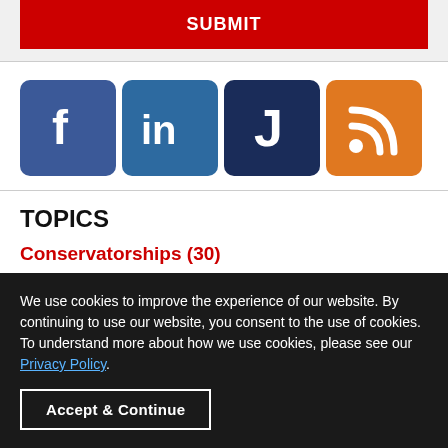[Figure (other): Red submit button]
[Figure (other): Social media icons: Facebook (blue), LinkedIn (blue), Justia (dark blue), RSS (orange)]
TOPICS
Conservatorships (30)
Wills & Trusts (29)
Probate (18)
We use cookies to improve the experience of our website. By continuing to use our website, you consent to the use of cookies. To understand more about how we use cookies, please see our Privacy Policy.
Accept & Continue